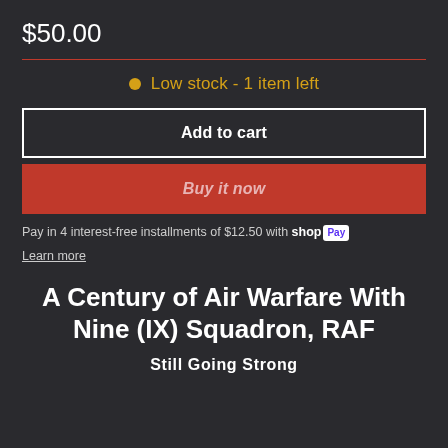$50.00
Low stock - 1 item left
Add to cart
Buy it now
Pay in 4 interest-free installments of $12.50 with shopPay
Learn more
A Century of Air Warfare With Nine (IX) Squadron, RAF
Still Going Strong